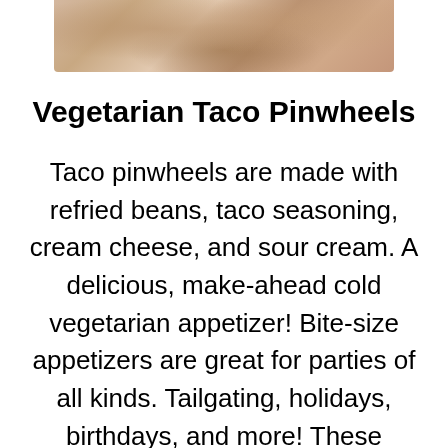[Figure (photo): Close-up photo of vegetarian taco pinwheels, partially visible at top of page]
Vegetarian Taco Pinwheels
Taco pinwheels are made with refried beans, taco seasoning, cream cheese, and sour cream. A delicious, make-ahead cold vegetarian appetizer! Bite-size appetizers are great for parties of all kinds. Tailgating, holidays, birthdays, and more! These vegetarian taco pinwheels are not only yummy; they are also super easy to make. I thought about adding